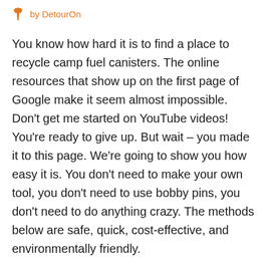by DetourOn
You know how hard it is to find a place to recycle camp fuel canisters. The online resources that show up on the first page of Google make it seem almost impossible. Don’t get me started on YouTube videos! You’re ready to give up. But wait – you made it to this page. We’re going to show you how easy it is. You don’t need to make your own tool, you don’t need to use bobby pins, you don’t need to do anything crazy. The methods below are safe, quick, cost-effective, and environmentally friendly.
If you find the information below more useful